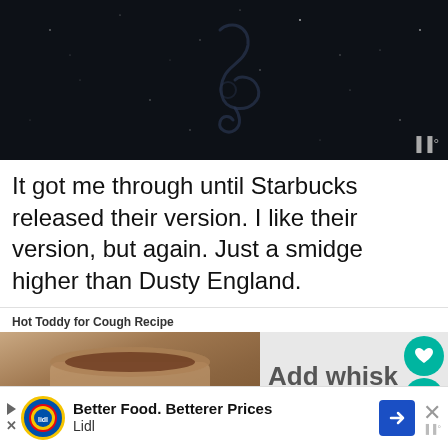[Figure (photo): Dark night sky with faint sparkle/smoke shape, possibly a treble clef or abstract form]
It got me through until Starbucks released their version. I like their version, but again. Just a smidge higher than Dusty England.
Hot Toddy for Cough Recipe
[Figure (photo): Hot toddy in a mug with 'Add whisk' text overlay and recipe card interface]
[Figure (other): Lidl advertisement: Better Food. Betterer Prices]